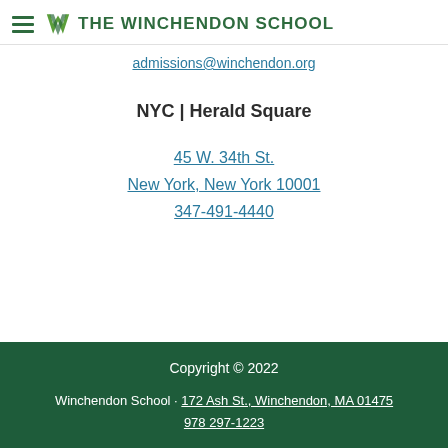THE WINCHENDON SCHOOL
admissions@winchendon.org
NYC | Herald Square
45 W. 34th St.
New York, New York 10001
347-491-4440
Copyright © 2022
Winchendon School · 172 Ash St., Winchendon, MA 01475
978 297-1223